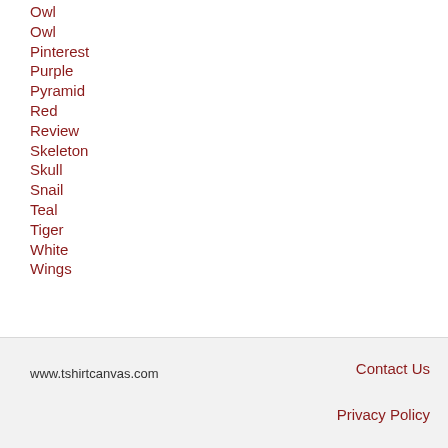Owl
Pinterest
Purple
Pyramid
Red
Review
Skeleton
Skull
Snail
Teal
Tiger
White
Wings
www.tshirtcanvas.com   Contact Us   Privacy Policy